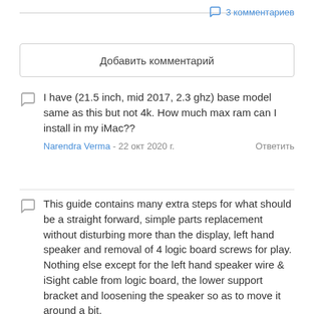3 комментариев
Добавить комментарий
I have (21.5 inch, mid 2017, 2.3 ghz) base model same as this but not 4k. How much max ram can I install in my iMac??
Narendra Verma - 22 окт 2020 г.    Ответить
This guide contains many extra steps for what should be a straight forward, simple parts replacement without disturbing more than the display, left hand speaker and removal of 4 logic board screws for play. Nothing else except for the left hand speaker wire & iSight cable from logic board, the lower support bracket and loosening the speaker so as to move it around a bit.